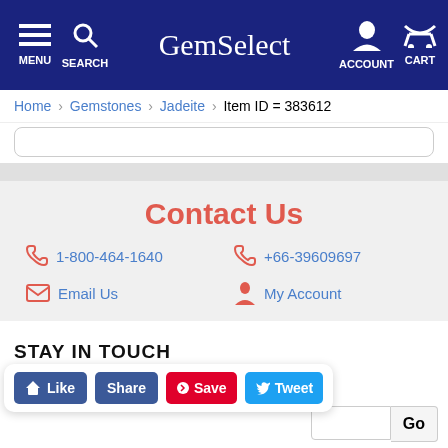GemSelect — MENU | SEARCH | ACCOUNT | CART
Home > Gemstones > Jadeite > Item ID = 383612
Contact Us
1-800-464-1640
+66-39609697
Email Us
My Account
STAY IN TOUCH
Like  Share  Save  Tweet